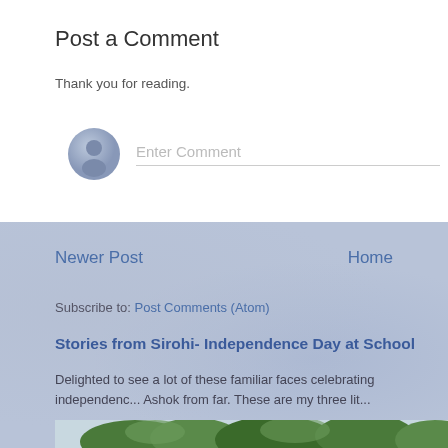Post a Comment
Thank you for reading.
[Figure (screenshot): Comment input field with avatar placeholder and 'Enter Comment' placeholder text]
Newer Post
Home
Subscribe to: Post Comments (Atom)
Stories from Sirohi- Independence Day at School
Delighted to see a lot of these familiar faces celebrating independence... Ashok from far. These are my three lit...
[Figure (photo): Outdoor photo showing trees against a light sky]